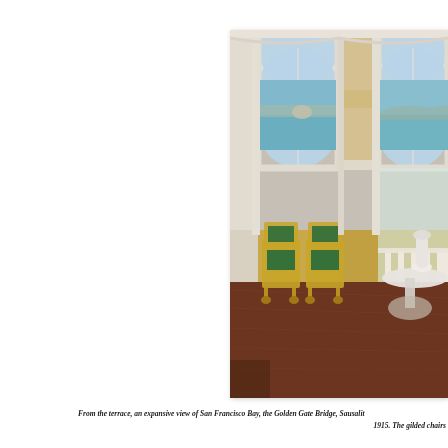[Figure (photo): Interior room photo showing elegant arched windows overlooking San Francisco Bay with the Golden Gate Bridge and Sausalito visible. Two gilded chairs with green velvet cushions are positioned near the open terrace doors. A marble table with a white vase stands to the right. The room features ornate white moldings and warm wood parquet floors.]
From the terrace, an expansive view of San Francisco Bay, the Golden Gate Bridge, Sausalit... 1915. The gilded chairs...